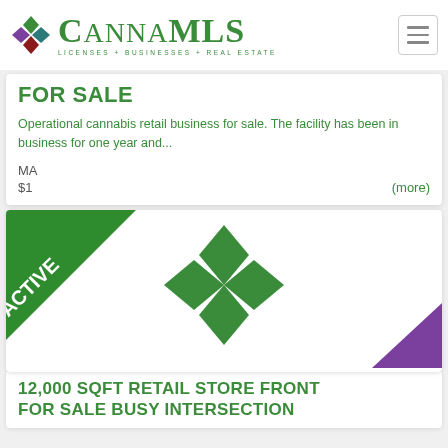[Figure (logo): CannaMLS logo with colorful diamond grid icon and text 'CannaMLS - Licenses + Businesses + Real Estate']
FOR SALE
Operational cannabis retail business for sale. The facility has been in business for one year and...
MA
$1
(more)
[Figure (photo): Card with ACTIVE ribbon badge in top-left corner, CannaMLS diamond logo centered, purple triangle in bottom-right corner]
12,000 SQFT RETAIL STORE FRONT FOR SALE BUSY INTERSECTION